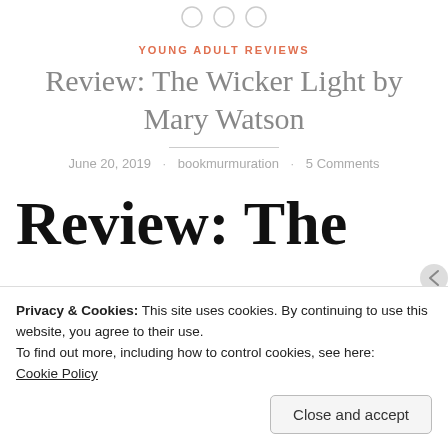[Figure (other): Three circular social media / sharing icons at top center, partially cropped]
YOUNG ADULT REVIEWS
Review: The Wicker Light by Mary Watson
June 20, 2019 · bookmurmuration · 5 Comments
Review: The
Privacy & Cookies: This site uses cookies. By continuing to use this website, you agree to their use.
To find out more, including how to control cookies, see here:
Cookie Policy
Close and accept